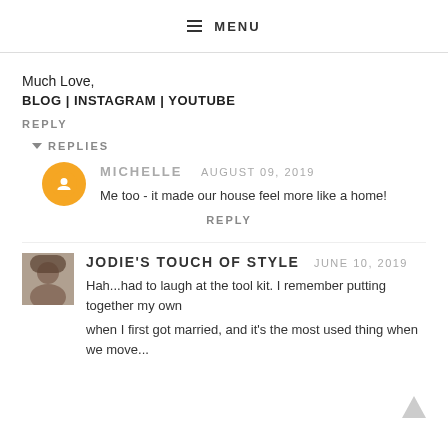≡ MENU
Much Love,
BLOG | INSTAGRAM | YOUTUBE
REPLY
▼ REPLIES
MICHELLE   AUGUST 09, 2019
Me too - it made our house feel more like a home!
REPLY
JODIE'S TOUCH OF STYLE   JUNE 10, 2019
Hah...had to laugh at the tool kit. I remember putting together my own when I first got married, and it's the most used thing when we move...